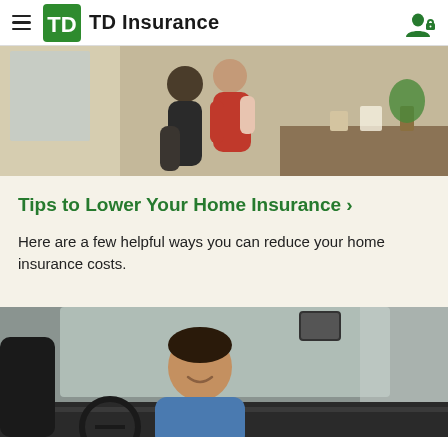TD Insurance
[Figure (photo): Two people hugging indoors, one wearing a red top, sitting near a window with natural light and plants in the background]
Tips to Lower Your Home Insurance >
Here are a few helpful ways you can reduce your home insurance costs.
[Figure (photo): A smiling young man sitting in the driver's seat of a car, wearing a blue shirt, with a rearview mirror visible]